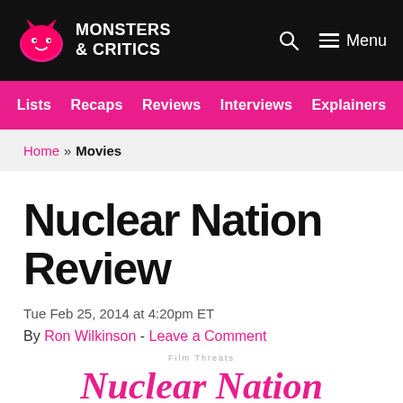Monsters & Critics — Menu
Lists | Recaps | Reviews | Interviews | Explainers
Home » Movies
Nuclear Nation Review
Tue Feb 25, 2014 at 4:20pm ET
By Ron Wilkinson - Leave a Comment
[Figure (logo): Nuclear Nation logo/title text in pink italic serif font]